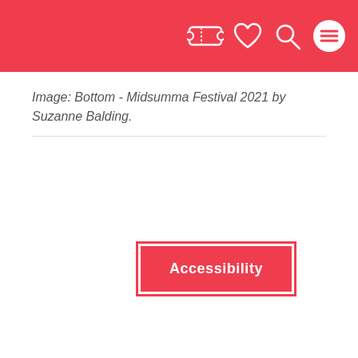[Navigation header with ticket, heart, search, and menu icons]
Image: Bottom - Midsumma Festival 2021 by Suzanne Balding.
Accessibility